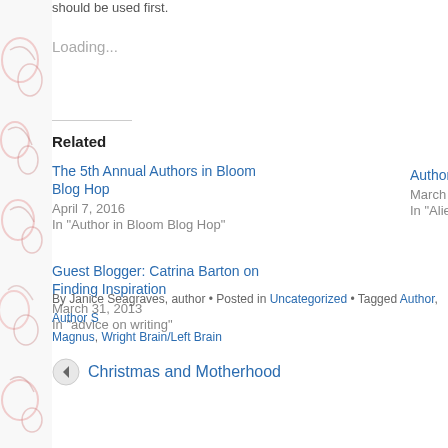should be used first.
Loading...
Related
The 5th Annual Authors in Bloom Blog Hop
April 7, 2016
In "Author in Bloom Blog Hop"
Authors in Bloom
March 27, 2017
In "Alien Heart"
Guest Blogger: Catrina Barton on Finding Inspiration
March 31, 2013
In "advice on writing"
By Janice Seagraves, author • Posted in Uncategorized • Tagged Author, Author S Magnus, Wright Brain/Left Brain
Christmas and Motherhood